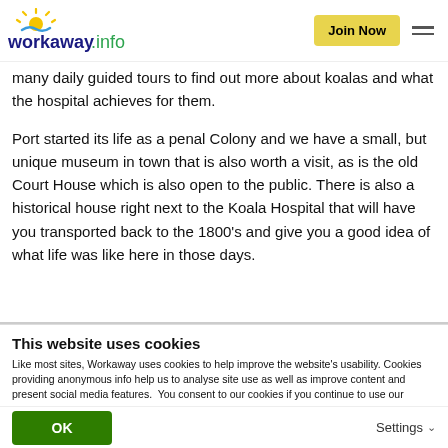workaway.info | Join Now
many daily guided tours to find out more about koalas and what the hospital achieves for them.
Port started its life as a penal Colony and we have a small, but unique museum in town that is also worth a visit, as is the old Court House which is also open to the public. There is also a historical house right next to the Koala Hospital that will have you transported back to the 1800's and give you a good idea of what life was like here in those days.
This website uses cookies
Like most sites, Workaway uses cookies to help improve the website's usability. Cookies providing anonymous info help us to analyse site use as well as improve content and present social media features.  You consent to our cookies if you continue to use our website.